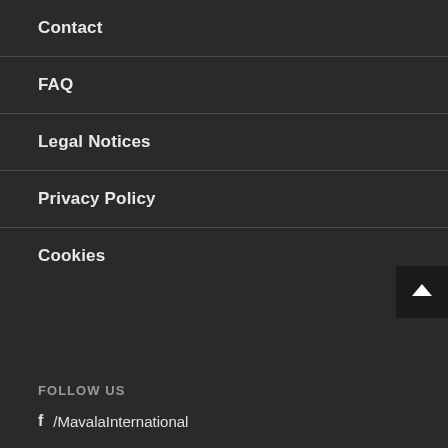Contact
FAQ
Legal Notices
Privacy Policy
Cookies
FOLLOW US
f  /MavalaInternational